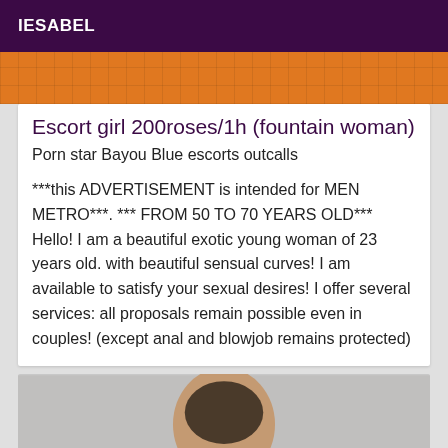IESABEL
[Figure (photo): Orange decorative architectural image with grid pattern]
Escort girl 200roses/1h (fountain woman)
Porn star Bayou Blue escorts outcalls
***this ADVERTISEMENT is intended for MEN METRO***. *** FROM 50 TO 70 YEARS OLD*** Hello! I am a beautiful exotic young woman of 23 years old. with beautiful sensual curves! I am available to satisfy your sexual desires! I offer several services: all proposals remain possible even in couples! (except anal and blowjob remains protected)
[Figure (photo): Photo of a man from shoulders up, dark hair, light background]